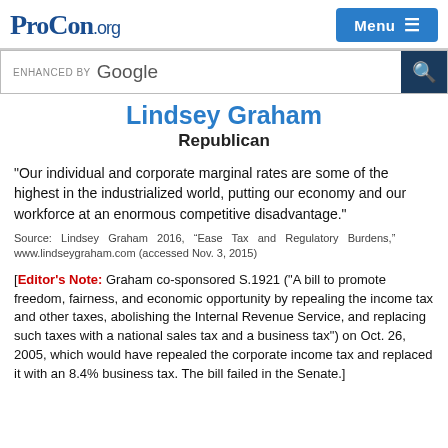ProCon.org — Menu
Lindsey Graham
Republican
"Our individual and corporate marginal rates are some of the highest in the industrialized world, putting our economy and our workforce at an enormous competitive disadvantage."
Source: Lindsey Graham 2016, “Ease Tax and Regulatory Burdens,” www.lindseygraham.com (accessed Nov. 3, 2015)
[Editor's Note: Graham co-sponsored S.1921 ("A bill to promote freedom, fairness, and economic opportunity by repealing the income tax and other taxes, abolishing the Internal Revenue Service, and replacing such taxes with a national sales tax and a business tax") on Oct. 26, 2005, which would have repealed the corporate income tax and replaced it with an 8.4% business tax. The bill failed in the Senate.]